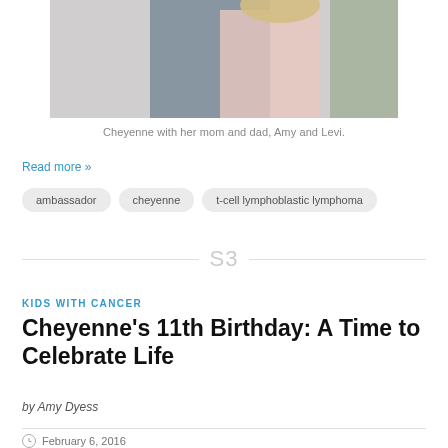[Figure (photo): Cropped photo showing a couple embracing — a man in a grey t-shirt and a woman with blonde hair in a light pink top, outdoors with greenery in the background.]
Cheyenne with her mom and dad, Amy and Levi.
Read more »
ambassador
cheyenne
t-cell lymphoblastic lymphoma
[Figure (logo): S3 or SB stylized logo in light grey, centered between two horizontal divider lines]
KIDS WITH CANCER
Cheyenne's 11th Birthday: A Time to Celebrate Life
by Amy Dyess
February 6, 2016